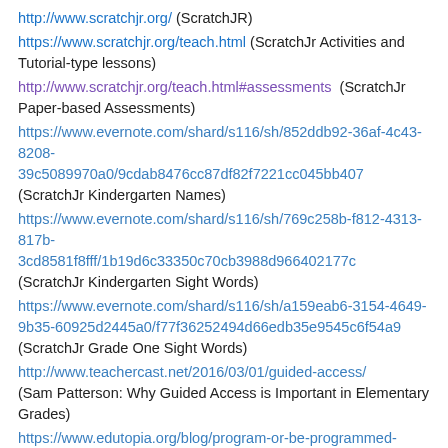http://www.scratchjr.org/ (ScratchJR)
https://www.scratchjr.org/teach.html (ScratchJr Activities and Tutorial-type lessons)
http://www.scratchjr.org/teach.html#assessments (ScratchJr Paper-based Assessments)
https://www.evernote.com/shard/s116/sh/852ddb92-36af-4c43-8208-39c5089970a0/9cdab8476cc87df82f7221cc045bb407 (ScratchJr Kindergarten Names)
https://www.evernote.com/shard/s116/sh/769c258b-f812-4313-817b-3cd8581f8fff/1b19d6c33350c70cb3988d966402177c (ScratchJr Kindergarten Sight Words)
https://www.evernote.com/shard/s116/sh/a159eab6-3154-4649-9b35-60925d2445a0/f77f36252494d66edb35e9545c6f54a9 (ScratchJr Grade One Sight Words)
http://www.teachercast.net/2016/03/01/guided-access/ (Sam Patterson: Why Guided Access is Important in Elementary Grades)
https://www.edutopia.org/blog/program-or-be-programmed-mary-beth-hertz (MaryBeth Hertz: Program or Be Programmed)
http://www.edutopia.org/discussion/coded-success-benefits-learning-program (Keith Heggart: The Benefits of Learning to Program)